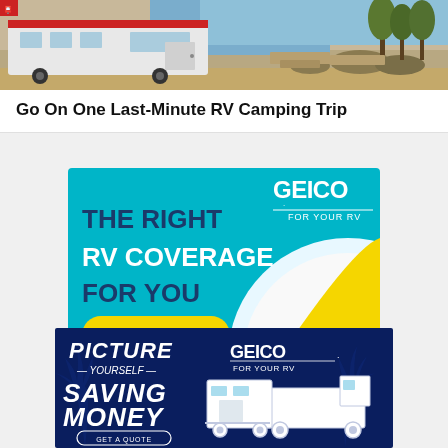[Figure (photo): Photo of an RV/trailer parked at a campsite with picnic tables and dry scrubland in background]
Go On One Last-Minute RV Camping Trip
[Figure (infographic): GEICO advertisement: teal background with text 'THE RIGHT RV COVERAGE FOR YOU', 'Start A Quote' yellow button, GEICO logo, frog character, and illustration of RV and truck]
[Figure (infographic): GEICO dark blue advertisement: 'PICTURE YOURSELF SAVING MONEY', 'GET A QUOTE' button, illustration of camper trailer with truck, GEICO FOR YOUR RV logo]